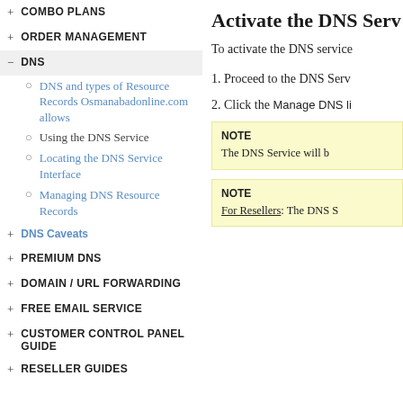+ COMBO PLANS
+ ORDER MANAGEMENT
- DNS
o DNS and types of Resource Records Osmanabadonline.com allows
o Using the DNS Service
o Locating the DNS Service Interface
o Managing DNS Resource Records
+ DNS Caveats
+ PREMIUM DNS
+ DOMAIN / URL FORWARDING
+ FREE EMAIL SERVICE
+ CUSTOMER CONTROL PANEL GUIDE
+ RESELLER GUIDES
Activate the DNS Serv...
To activate the DNS service...
1. Proceed to the DNS Serv...
2. Click the Manage DNS li...
NOTE
The DNS Service will b...
NOTE
For Resellers: The DNS S...